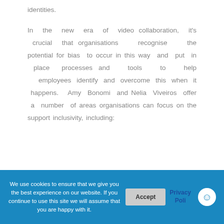identities.
In the new era of video collaboration, it's crucial that organisations recognise the potential for bias to occur in this way and put in place processes and tools to help employees identify and overcome this when it happens. Amy Bonomi and Nelia Viveiros offer a number of areas organisations can focus on the support inclusivity, including:
We use cookies to ensure that we give you the best experience on our website. If you continue to use this site we will assume that you are happy with it.